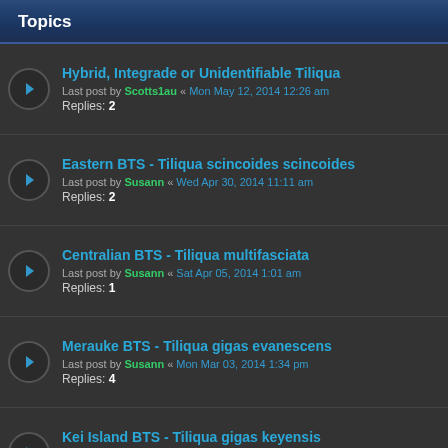Topics
Hybrid, Integrade or Unidentifiable Tiliqua
Last post by Scotts1au « Mon May 12, 2014 12:26 am
Replies: 2
Eastern BTS - Tiliqua scincoides scincoides
Last post by Susann « Wed Apr 30, 2014 11:11 am
Replies: 2
Centralian BTS - Tiliqua multifasciata
Last post by Susann « Sat Apr 05, 2014 1:01 am
Replies: 1
Merauke BTS - Tiliqua gigas evanescens
Last post by Susann « Mon Mar 03, 2014 1:34 pm
Replies: 4
Kei Island BTS - Tiliqua gigas keyensis
Last post by Susann « Sun Mar 02, 2014 10:26 pm
Replies: 1
Blotched BTS - Tiliqua nigrolutea
Last post by Susann « Sun Mar 02, 2014 5:58 pm
Replies: 3
Indonesian BTS - Tiliqua gigas gigas